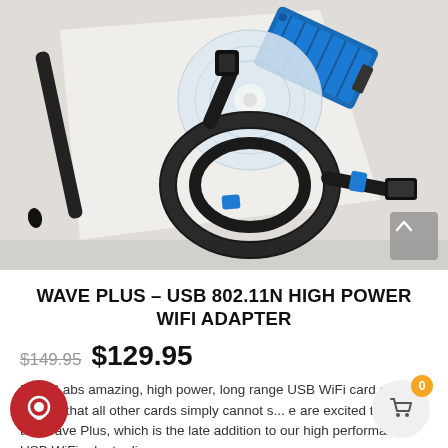[Figure (photo): Product photo showing a USB WiFi adapter (blue aluminum body), a coiled black USB cable with blue zip ties, a black antenna, and a CD, laid out on a white surface]
WAVE PLUS – USB 802.11N HIGH POWER WIFI ADAPTER
$149.95 $129.95
RadioLabs amazing, high power, long range USB WiFi card capture signals that all other cards simply cannot s... e are excited to offer the Wave Plus, which is the late addition to our high performance USB WiFi adapter line.